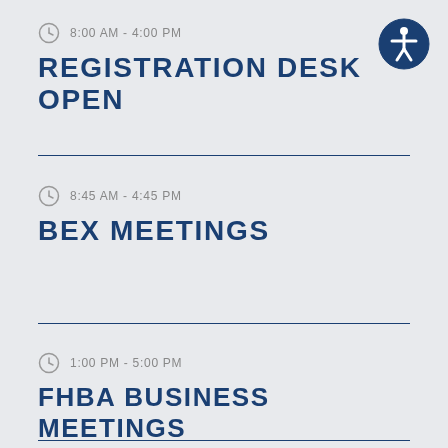8:00 AM - 4:00 PM
REGISTRATION DESK OPEN
8:45 AM - 4:45 PM
BEX MEETINGS
1:00 PM - 5:00 PM
FHBA BUSINESS MEETINGS